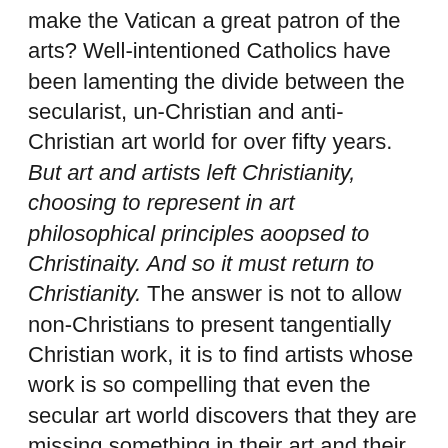make the Vatican a great patron of the arts? Well-intentioned Catholics have been lamenting the divide between the secularist, un-Christian and anti-Christian art world for over fifty years. But art and artists left Christianity, choosing to represent in art philosophical principles aoopsed to Christinaity. And so it must return to Christianity. The answer is not to allow non-Christians to present tangentially Christian work, it is to find artists whose work is so compelling that even the secular art world discovers that they are missing something in their art and their patterns of though.
Iironically, one sees here the same failed pattern promoted in the 1950s when Dominican friar Marie-Alain Couturier hired Matisse and Le Corbusier to design modern art and architecture. The only people who cared were people driven